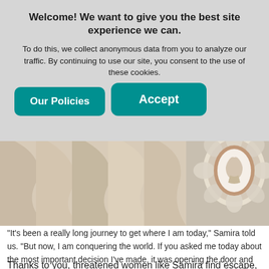Welcome! We want to give you the best site experience we can.
To do this, we collect anonymous data from you to analyze our traffic. By continuing to use our site, you consent to the use of these cookies.
Our Policies
Accept
[Figure (photo): Close-up photo showing draped cream/beige fabric and a decorative cameo brooch with a floral surround.]
“It’s been a really long journey to get where I am today,” Samira told us. “But now, I am conquering the world. If you asked me today about the most important decision I’ve made, it was opening the door and escaping my house.” © Daniel Smith
Thanks to you, threatened women like Samira find escape,